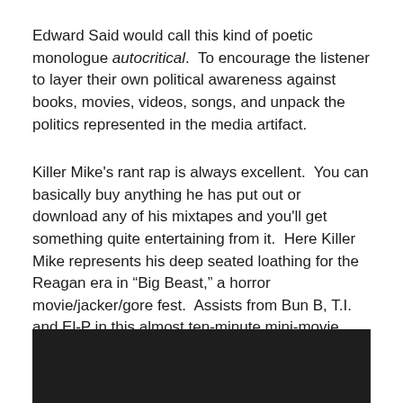Edward Said would call this kind of poetic monologue autocritical. To encourage the listener to layer their own political awareness against books, movies, videos, songs, and unpack the politics represented in the media artifact.
Killer Mike's rant rap is always excellent. You can basically buy anything he has put out or download any of his mixtapes and you'll get something quite entertaining from it. Here Killer Mike represents his deep seated loathing for the Reagan era in “Big Beast,” a horror movie/jacker/gore fest. Assists from Bun B, T.I. and El-P in this almost ten-minute mini-movie. Not safe for work.
[Figure (screenshot): Dark/black rectangle representing an embedded video player]